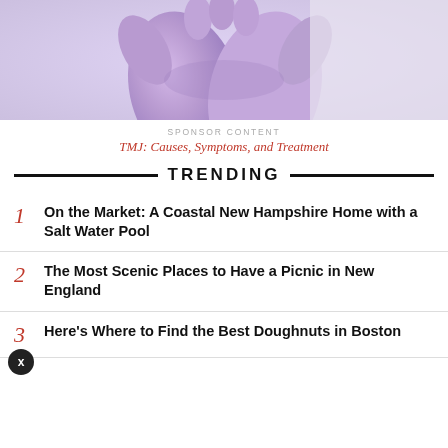[Figure (photo): Close-up photo of purple/lavender latex gloves, hands pressing together against a light background]
SPONSOR CONTENT
TMJ: Causes, Symptoms, and Treatment
TRENDING
1 On the Market: A Coastal New Hampshire Home with a Salt Water Pool
2 The Most Scenic Places to Have a Picnic in New England
3 Here's Where to Find the Best Doughnuts in Boston